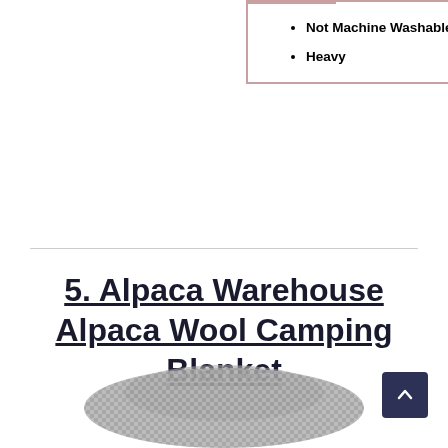Not Machine Washable
Heavy
5. Alpaca Warehouse Alpaca Wool Camping Blanket
[Figure (photo): Partial image of a woven alpaca wool camping blanket in grey tones visible at the bottom of the page]